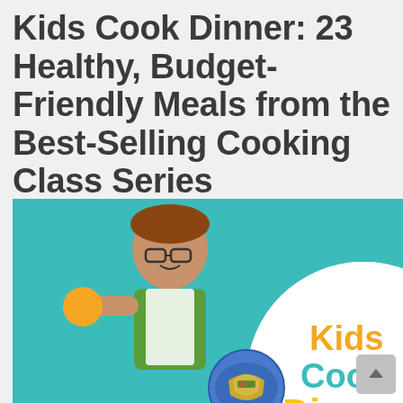Kids Cook Dinner: 23 Healthy, Budget-Friendly Meals from the Best-Selling Cooking Class Series (Paperback)
By
[Figure (photo): Book cover of 'Kids Cook Dinner' showing two children (a boy with glasses holding a lemon on a teal background, and a girl in a yellow apron on a yellow dotted background) with the book title in colorful text. Food images including tacos and pasta are visible. The bottom shows the title text 'Kids Cook Dinner' in orange, teal, and yellow.]